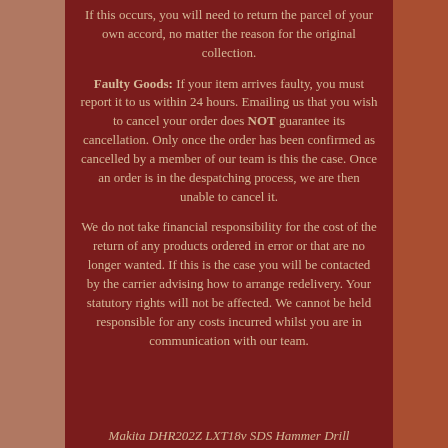If this occurs, you will need to return the parcel of your own accord, no matter the reason for the original collection.
Faulty Goods: If your item arrives faulty, you must report it to us within 24 hours. Emailing us that you wish to cancel your order does NOT guarantee its cancellation. Only once the order has been confirmed as cancelled by a member of our team is this the case. Once an order is in the despatching process, we are then unable to cancel it.
We do not take financial responsibility for the cost of the return of any products ordered in error or that are no longer wanted. If this is the case you will be contacted by the carrier advising how to arrange redelivery. Your statutory rights will not be affected. We cannot be held responsible for any costs incurred whilst you are in communication with our team.
Makita DHR202Z LXT18v SDS Hammer Drill